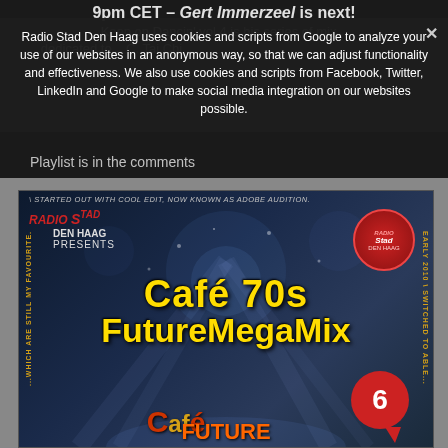9pm CET – Gert Immerzeel is next!
Keep on Dancin' vol 4 is his series of mix...
...dedicated to... C. Tai Chi...
Radio Stad Den Haag uses cookies and scripts from Google to analyze your use of our websites in an anonymous way, so that we can adjust functionality and effectiveness. We also use cookies and scripts from Facebook, Twitter, LinkedIn and Google to make social media integration on our websites possible.
Playlist is in the comments
[Figure (photo): Radio Stad Den Haag presents Café 70s FutureMegaMix promotional image with yellow and orange text on dark blue background, with radio logo badge, side text about Cool Edit/Adobe Audition, and a red speech bubble with number 6]